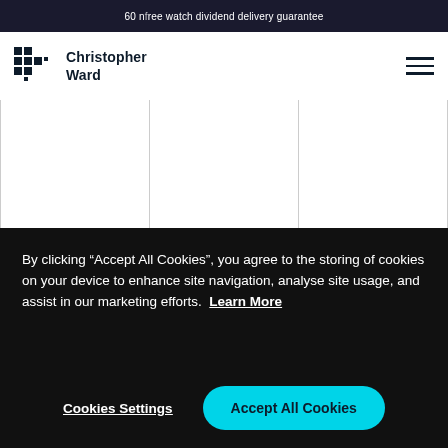60 nfree watch dividend delivery guarantee
[Figure (logo): Christopher Ward brand logo with cross/grid icon and text 'Christopher Ward']
[Figure (screenshot): Product grid area showing three columns of watch product images, mostly white/blank placeholders]
By clicking “Accept All Cookies”, you agree to the storing of cookies on your device to enhance site navigation, analyse site usage, and assist in our marketing efforts.  Learn More
Cookies Settings
Accept All Cookies